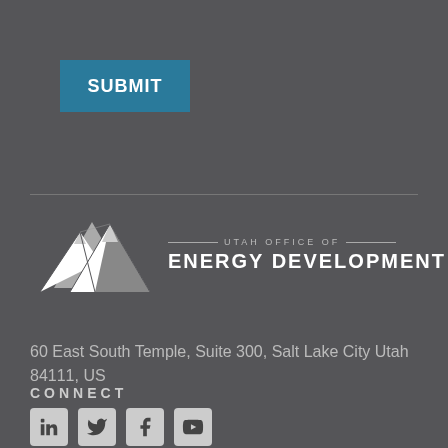SUBMIT
[Figure (logo): Utah Office of Energy Development logo with mountain graphic and text]
60 East South Temple, Suite 300, Salt Lake City Utah 84111, US
CONNECT
[Figure (infographic): Social media icons: LinkedIn, Twitter, Facebook, YouTube]